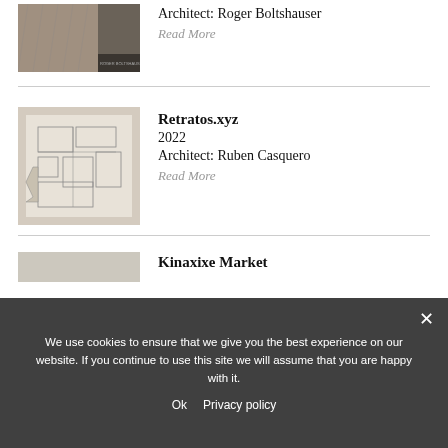[Figure (photo): Book cover or architectural image showing textured fabric/mesh and dark elements, with text 'ROGER BOLTSHAUSER' at bottom]
Architect: Roger Boltshauser
Read More
[Figure (photo): Architectural floor plan drawing on beige/cream background showing building layout with rooms and spaces]
Retratos.xyz
2022
Architect: Ruben Casquero
Read More
[Figure (photo): Partially visible architectural image at bottom]
Kinaxixe Market
We use cookies to ensure that we give you the best experience on our website. If you continue to use this site we will assume that you are happy with it.
Ok   Privacy policy